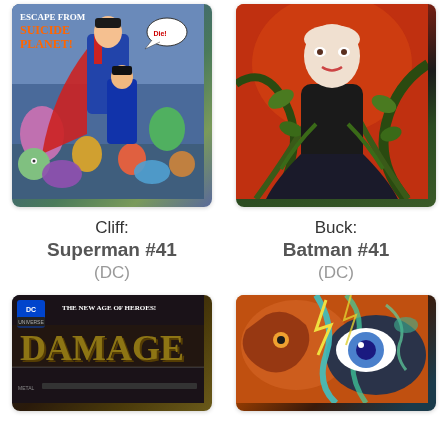[Figure (illustration): Comic book cover: Superman #41, 'Escape from Suicide Planet!' showing Superman and Superboy with alien characters, colorful action scene]
[Figure (illustration): Comic book cover: Batman #41, showing a pale woman with red background, vines/plants, dark gothic illustration (likely Poison Ivy)]
Cliff:
Superman #41
(DC)
Buck:
Batman #41
(DC)
[Figure (illustration): Comic book cover: Damage #2, DC New Age of Heroes, showing large yellow DAMAGE title text on dark background]
[Figure (illustration): Comic book cover: colorful psychedelic orange and teal comic with strange creature/eye imagery]